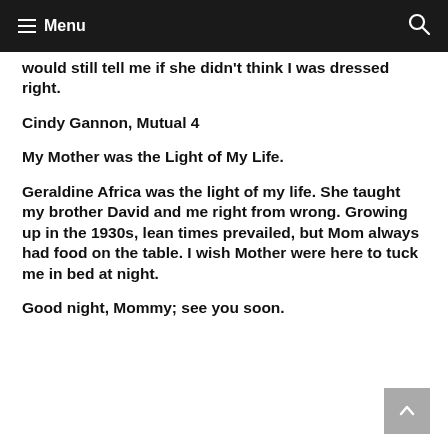Menu
would still tell me if she didn't think I was dressed right.
Cindy Gannon, Mutual 4
My Mother was the Light of My Life.
Geraldine Africa was the light of my life. She taught my brother David and me right from wrong. Growing up in the 1930s, lean times prevailed, but Mom always had food on the table. I wish Mother were here to tuck me in bed at night.
Good night, Mommy; see you soon.